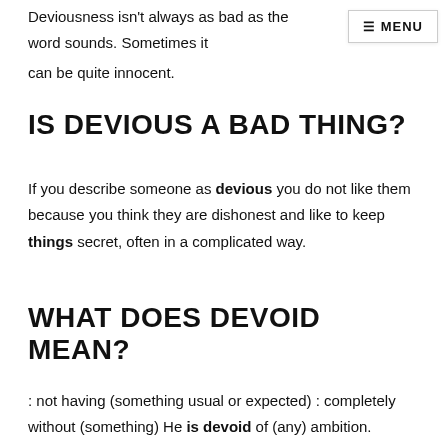Deviousness isn't always as bad as the word sounds. Sometimes it can be quite innocent.
≡ MENU
IS DEVIOUS A BAD THING?
If you describe someone as devious you do not like them because you think they are dishonest and like to keep things secret, often in a complicated way.
WHAT DOES DEVOID MEAN?
: not having (something usual or expected) : completely without (something) He is devoid of (any) ambition.